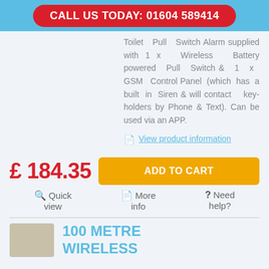CALL US TODAY: 01604 589414
Toilet Pull Switch Alarm supplied with 1 x Wireless Battery powered Pull Switch & 1 x GSM Control Panel (which has a built in Siren & will contact key-holders by Phone & Text). Can be used via an APP.
View product information
£ 184.35
ADD TO CART
Quick view
More info
Need help?
100 METRE WIRELESS